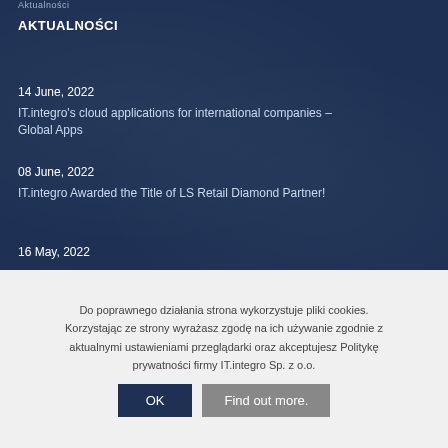Aktualności
AKTUALNOŚCI
14 June, 2022
IT.integro's cloud applications for international companies – Global Apps
08 June, 2022
IT.integro Awarded the Title of LS Retail Diamond Partner!
16 May, 2022
Do poprawnego działania strona wykorzystuje pliki cookies. Korzystając ze strony wyrażasz zgodę na ich używanie zgodnie z aktualnymi ustawieniami przeglądarki oraz akceptujesz Politykę prywatności firmy IT.integro Sp. z o.o.
OK
Find out more.